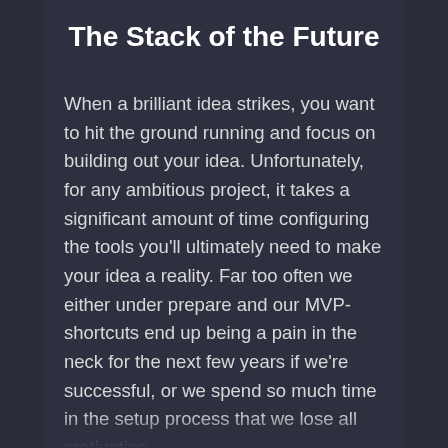The Stack of the Future
When a brilliant idea strikes, you want to hit the ground running and focus on building out your idea. Unfortunately, for any ambitious project, it takes a significant amount of time configuring the tools you'll ultimately need to make your idea a reality. Far too often we either under prepare and our MVP-shortcuts end up being a pain in the neck for the next few years if we're successful, or we spend so much time in the setup process that we lose all motivation.